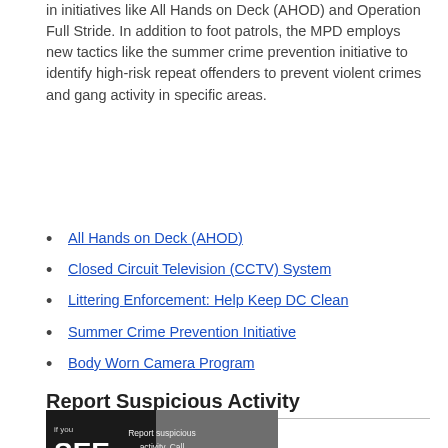in initiatives like All Hands on Deck (AHOD) and Operation Full Stride. In addition to foot patrols, the MPD employs new tactics like the summer crime prevention initiative to identify high-risk repeat offenders to prevent violent crimes and gang activity in specific areas.
All Hands on Deck (AHOD)
Closed Circuit Television (CCTV) System
Littering Enforcement: Help Keep DC Clean
Summer Crime Prevention Initiative
Body Worn Camera Program
Report Suspicious Activity
[Figure (photo): A public awareness image with dark background showing 'if you SEE something SAY something' text on the left panel, and on the right panel text reading 'Report suspicious activity. Call 9-1-1.' with an iWATCH logo at the bottom.]